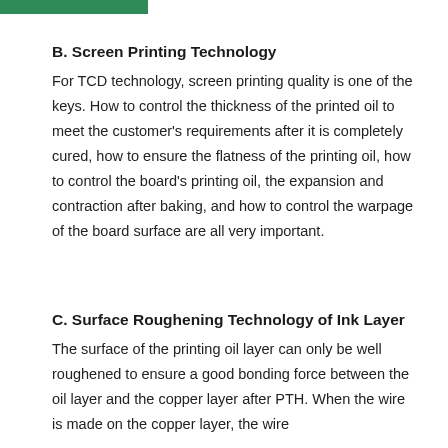B. Screen Printing Technology
For TCD technology, screen printing quality is one of the keys. How to control the thickness of the printed oil to meet the customer's requirements after it is completely cured, how to ensure the flatness of the printing oil, how to control the board's printing oil, the expansion and contraction after baking, and how to control the warpage of the board surface are all very important.
C. Surface Roughening Technology of Ink Layer
The surface of the printing oil layer can only be well roughened to ensure a good bonding force between the oil layer and the copper layer after PTH. When the wire is made on the copper layer, the wire